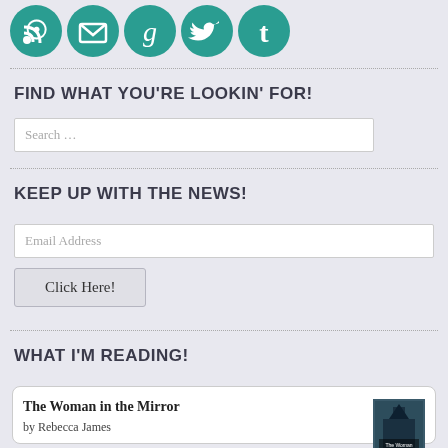[Figure (illustration): Row of five teal circular social media icons: RSS, email/envelope, Goodreads (g), Twitter bird, Tumblr (t)]
FIND WHAT YOU’RE LOOKIN’ FOR!
Search …
KEEP UP WITH THE NEWS!
Email Address
Click Here!
WHAT I’M READING!
The Woman in the Mirror by Rebecca James